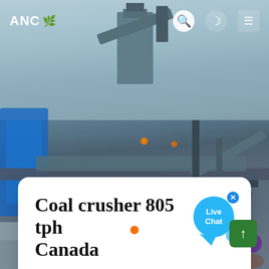[Figure (photo): Industrial coal crusher machinery with steel framework, conveyor structures, and blue pipes against a sky background]
ANC
Coal crusher 805 tph Canada
[Figure (infographic): Live Chat bubble in blue]